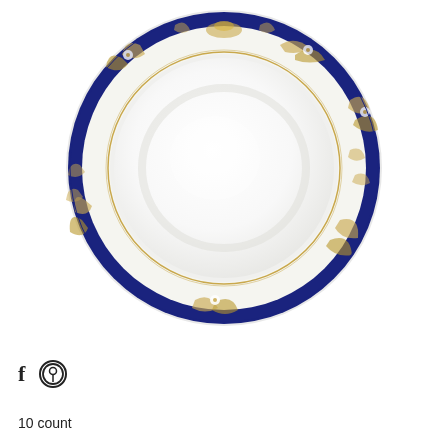[Figure (photo): A white ceramic soup/salad bowl viewed from above, featuring an ornate border with navy blue band and gold floral/botanical decorative pattern around the rim]
f  ⊕
10 count